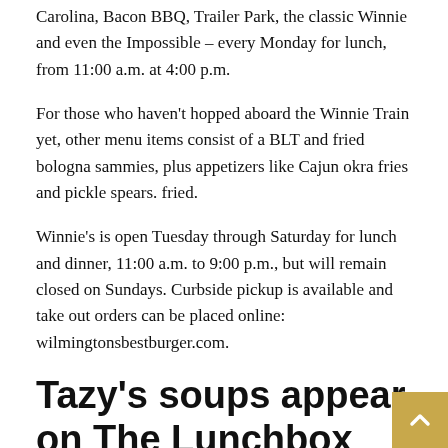Carolina, Bacon BBQ, Trailer Park, the classic Winnie and even the Impossible – every Monday for lunch, from 11:00 a.m. at 4:00 p.m.
For those who haven't hopped aboard the Winnie Train yet, other menu items consist of a BLT and fried bologna sammies, plus appetizers like Cajun okra fries and pickle spears. fried.
Winnie's is open Tuesday through Saturday for lunch and dinner, 11:00 a.m. to 9:00 p.m., but will remain closed on Sundays. Curbside pickup is available and take out orders can be placed online: wilmingtonsbestburger.com.
Tazy's soups appear on The Lunchbox menu
Missing Brad Goodman's Cream of Mushroom or Tazy's Day Lima Bean Soup with Sausage? Yvonne Inman, owner of The Lunchbox on Shipyard Road, now has Goodman helping in th